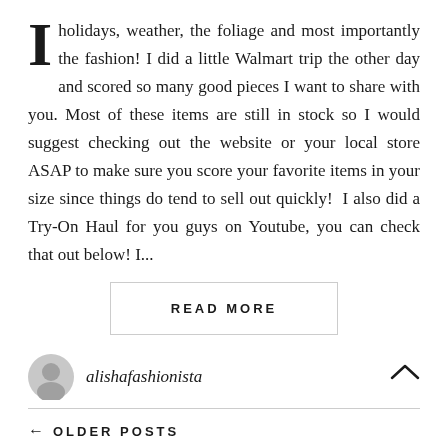holidays, weather, the foliage and most importantly the fashion! I did a little Walmart trip the other day and scored so many good pieces I want to share with you. Most of these items are still in stock so I would suggest checking out the website or your local store ASAP to make sure you score your favorite items in your size since things do tend to sell out quickly!  I also did a Try-On Haul for you guys on Youtube, you can check that out below! I...
READ MORE
alishafashionista
← OLDER POSTS